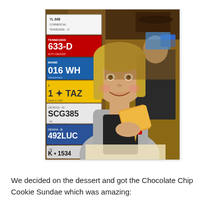[Figure (photo): A young person with medium-length blonde hair sitting at a restaurant table, smiling and holding up a food item. Behind them is a wooden post covered with various state license plates including Tennessee 633-D, Maine 016 WH, 1-TAZ, SCG385, Indiana 492LUC, and 1534. The restaurant has a rustic decor with wood paneling.]
We decided on the dessert and got the Chocolate Chip Cookie Sundae which was amazing: